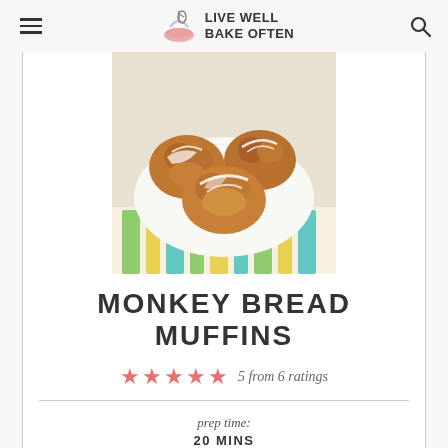LIVE WELL BAKE OFTEN
[Figure (photo): Close-up photo of monkey bread muffins with white icing drizzle on a white plate, on a striped colorful cloth]
MONKEY BREAD MUFFINS
5 from 6 ratings
prep time: 20 MINS
cook time: 15 MINS